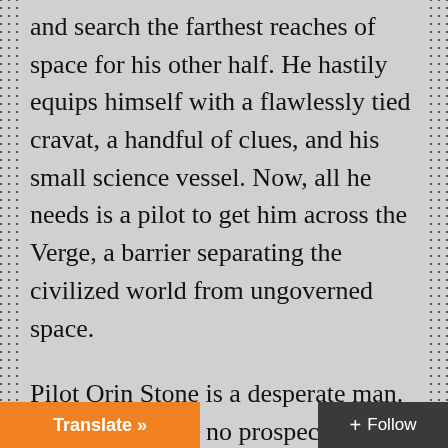and search the farthest reaches of space for his other half. He hastily equips himself with a flawlessly tied cravat, a handful of clues, and his small science vessel. Now, all he needs is a pilot to get him across the Verge, a barrier separating the civilized world from ungoverned space.
Pilot Orin Stone is a desperate man. No ship, no pay, no prospects. He spends his days barely scraping by in the rough colonies lining the Verge When he gets an offer from a